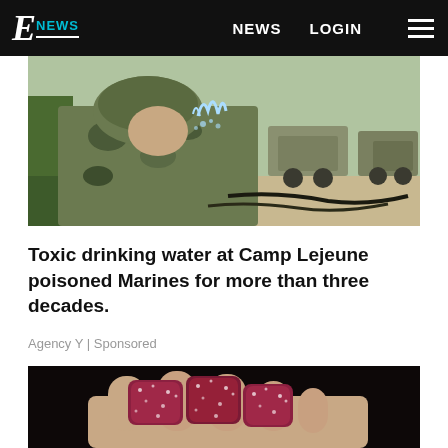E NEWS | NEWS | LOGIN
[Figure (photo): Soldier in camouflage uniform drinking water from an outdoor spigot, military vehicles in background]
Toxic drinking water at Camp Lejeune poisoned Marines for more than three decades.
Agency Y | Sponsored
[Figure (photo): Close-up of sugar-coated red gummy candies held in a hand against a dark background]